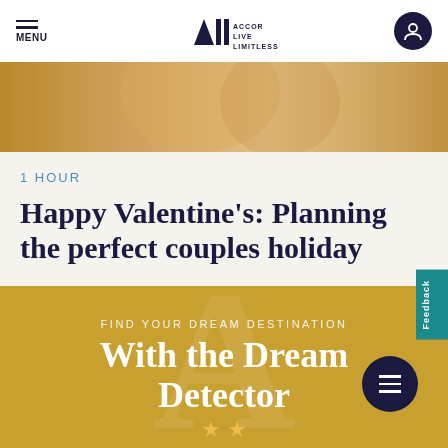MENU | ALL ACCOR LIVE LIMITLESS
[Figure (photo): A couple outdoors in warm golden light, woman in yellow cardigan and floral top]
1 HOUR
Happy Valentine's: Planning the perfect couples holiday
[Figure (infographic): Gold banner with text: FIND YOUR DREAM DESTINATION / With the Dream Detector, with watermark A logo and stars]
Feedback